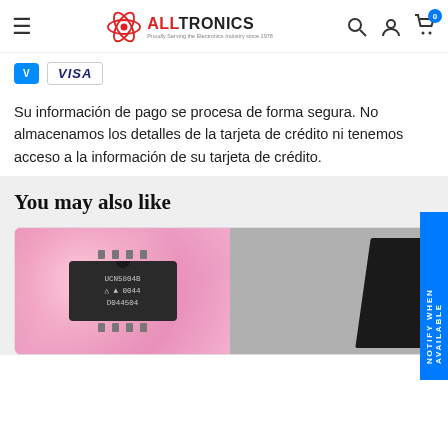[Figure (screenshot): Alltronics website header with hamburger menu, logo, search icon, account icon, and cart icon showing 0 items]
[Figure (logo): Payment method icons: Venmo and Visa]
Su información de pago se procesa de forma segura. No almacenamos los detalles de la tarjeta de crédito ni tenemos acceso a la información de su tarjeta de crédito.
You may also like
[Figure (photo): UCN5804B integrated circuit chip on pink anti-static foam, DIP package with text UCN5804B, triangle logo, 0044, D044504]
[Figure (photo): Partial view of a dark integrated circuit chip, partially visible on right side]